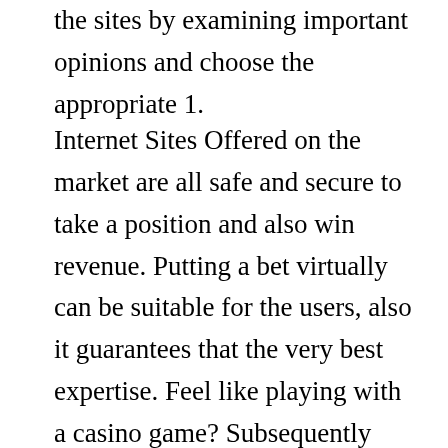the sites by examining important opinions and choose the appropriate 1.
Internet Sites Offered on the market are all safe and secure to take a position and also win revenue. Putting a bet virtually can be suitable for the users, also it guarantees that the very best expertise. Feel like playing with a casino game? Subsequently commence your gaming experience experience with all the optimal/optimally website and win bonuses.